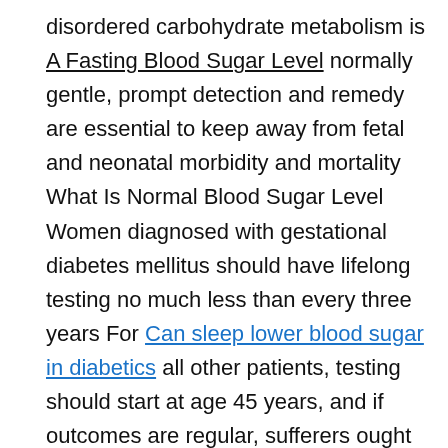disordered carbohydrate metabolism is A Fasting Blood Sugar Level normally gentle, prompt detection and remedy are essential to keep away from fetal and neonatal morbidity and mortality What Is Normal Blood Sugar Level Women diagnosed with gestational diabetes mellitus should have lifelong testing no much less than every three years For Can sleep lower blood sugar in diabetics all other patients, testing should start at age 45 years, and if outcomes are regular, sufferers ought to be tested at a minimum What Is Normal Blood Sugar of each 3 years.
Other diabetes a name for less frequent forms of diabetes What Is The Normal Blood Sugar Level